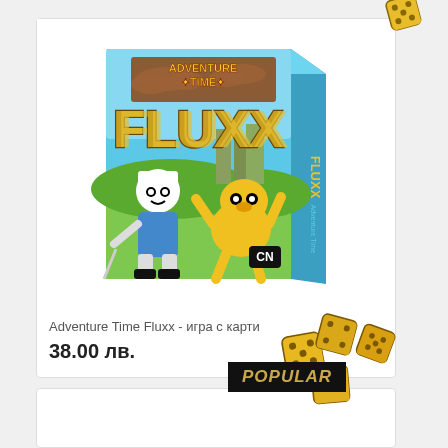[Figure (photo): Adventure Time Fluxx card game box featuring Finn and Jake characters on a colorful illustrated background with CN Cartoon Network logo]
Adventure Time Fluxx - игра с карти
38.00 лв.
[Figure (illustration): POPULAR badge with golden dice decorations around it]